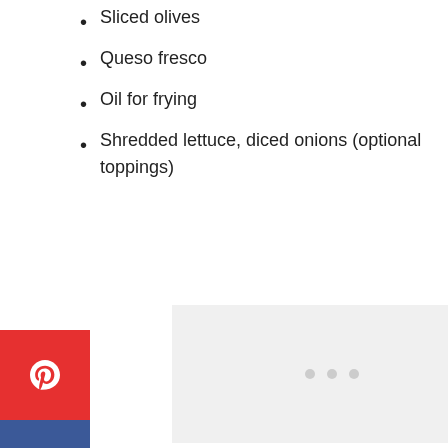Sliced olives
Queso fresco
Oil for frying
Shredded lettuce, diced onions (optional toppings)
[Figure (other): Light gray image placeholder with three small dots in the center, social share sidebar on left with Pinterest, Facebook, Twitter, and Email buttons]